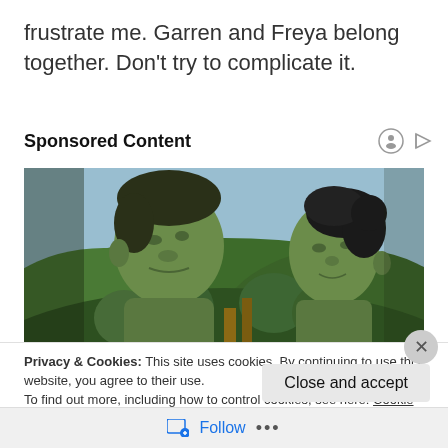frustrate me. Garren and Freya belong together. Don't try to complicate it.
Sponsored Content
[Figure (photo): Two green-skinned characters (Hulk and She-Hulk) facing each other in front of a green hillside background]
Privacy & Cookies: This site uses cookies. By continuing to use this website, you agree to their use.
To find out more, including how to control cookies, see here: Cookie Policy
Close and accept
Follow ...